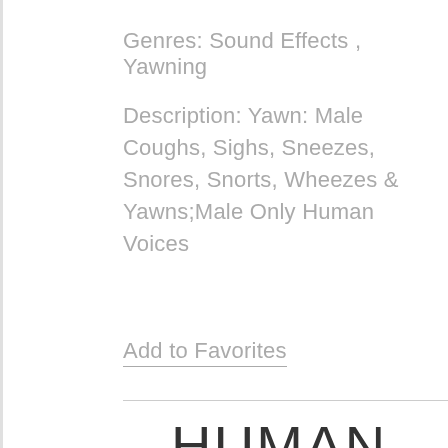Genres: Sound Effects , Yawning
Description: Yawn: Male Coughs, Sighs, Sneezes, Snores, Snorts, Wheezes & Yawns;Male Only Human Voices
Add to Favorites
▶ HUMAN, YAWN 8